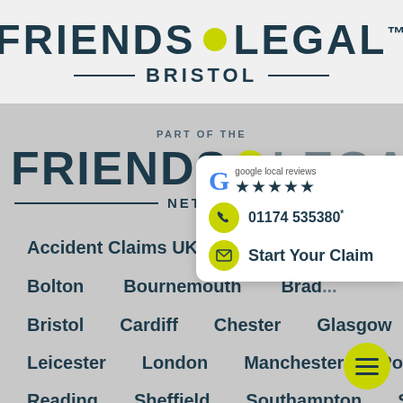[Figure (logo): Friends Legal logo with yellow dot and TM mark, Bristol subtitle with horizontal lines]
PART OF THE
[Figure (logo): Friends Legal Network logo with large text and yellow dot, partially visible]
[Figure (infographic): Google local reviews 5-star rating card with phone number 01174 535380 and Start Your Claim button]
Accident Claims UK   Aberdeen
Bolton   Bournemouth   Brad...
Bristol   Cardiff   Chester   Glasgow   Leeds
Leicester   London   Manchester   Portsmouth
Reading   Sheffield   Southampton   Stockport...